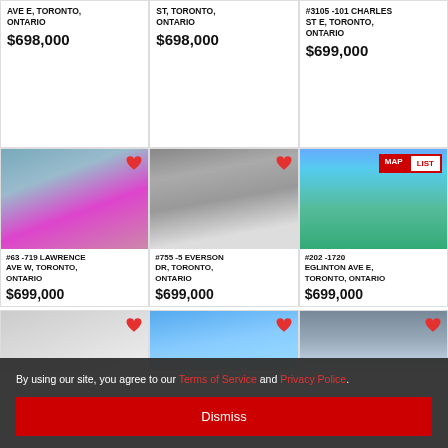AVE E, TORONTO, ONTARIO
$698,000
ST, TORONTO, ONTARIO
$698,000
#3105 -101 CHARLES ST E, TORONTO, ONTARIO
$699,000
[Figure (photo): Townhouse complex exterior with road and landscaping]
[Figure (photo): Row house with iron staircase railings in winter]
[Figure (photo): High-rise condo building with trees, MAP/LIST toggle button overlay]
#63 -719 LAWRENCE AVE W, TORONTO, ONTARIO
$699,000
#755 -5 EVERSON DR, TORONTO, ONTARIO
$699,000
#202 -1720 EGLINTON AVE E, TORONTO, ONTARIO
$699,000
[Figure (photo): Partial interior/exterior blurred photo]
[Figure (photo): Blue-sky condo building exterior]
[Figure (photo): Tall tower building exterior]
By using our site, you agree to our Terms of Service and Privacy Police.
Dismiss